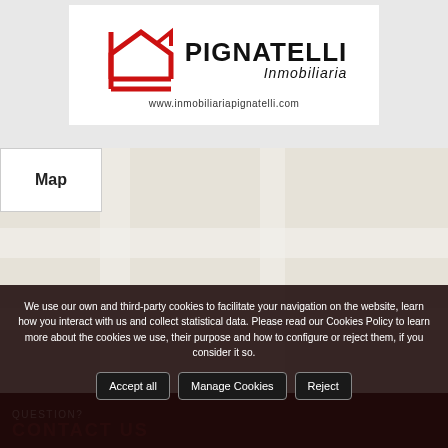[Figure (logo): Pignatelli Inmobiliaria logo with house icon and website URL www.inmobiliariapignatelli.com]
Map
[Figure (map): Map area showing street/location view]
We use our own and third-party cookies to facilitate your navigation on the website, learn how you interact with us and collect statistical data. Please read our Cookies Policy to learn more about the cookies we use, their purpose and how to configure or reject them, if you consider it so.
Accept all
Manage Cookies
Reject
QUESTION?
CONTACT US